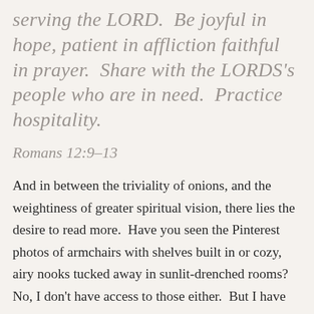serving the LORD.  Be joyful in hope, patient in affliction faithful in prayer.  Share with the LORDS's people who are in need.  Practice hospitality.
Romans 12:9–13
And in between the triviality of onions, and the weightiness of greater spiritual vision, there lies the desire to read more.  Have you seen the Pinterest photos of armchairs with shelves built in or cozy, airy nooks tucked away in sunlit-drenched rooms?  No, I don't have access to those either.  But I have been inspired by Russia's online live readings